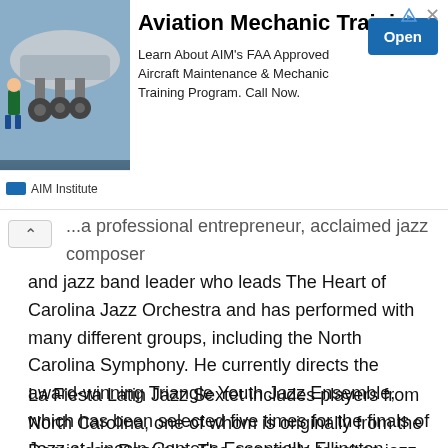[Figure (other): Advertisement banner for AIM Institute Aviation Mechanic Training program, showing aircraft undercarriage image on the left, bold title 'Aviation Mechanic Training', description text about FAA Approved Aircraft Maintenance & Mechanic Training Program, an 'Open' button, and AIM Institute logo.]
...a professional entrepreneur, acclaimed jazz composer and jazz band leader who leads The Heart of Carolina Jazz Orchestra and has performed with many different groups, including the North Carolina Symphony. He currently directs the award-winning Triangle Youth Jazz Ensemble, which has been selected five times for the finals of Jazz at Lincoln Center's Essentially Ellington competition and festival, and has served as an interim assistant professor of jazz at the University of North Carolina at Chapel Hill, N.C. State University and UNC Greensboro.
La Fiesta Latin Jazz Sextet includes players from North Carolina, one of whom is originally from the Dominican Republic. The ensemble teaches jazz history, the improvisation process and performs at events all across the state — drawing for its repertoire on music by jazz greats Louis Armstrong, Tito Puente,